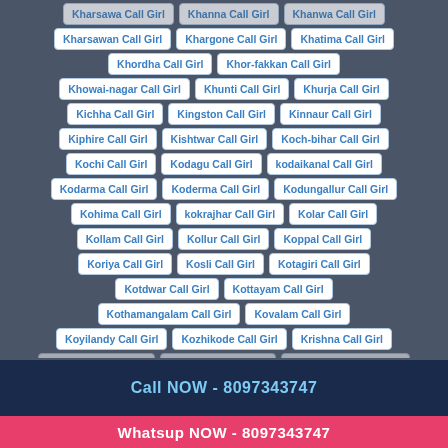Kharsawan Call Girl
Khargone Call Girl
Khatima Call Girl
Khordha Call Girl
Khor-fakkan Call Girl
Khowai-nagar Call Girl
Khunti Call Girl
Khurja Call Girl
Kichha Call Girl
Kingston Call Girl
Kinnaur Call Girl
Kiphire Call Girl
Kishtwar Call Girl
Koch-bihar Call Girl
Kochi Call Girl
Kodagu Call Girl
kodaikanal Call Girl
Kodarma Call Girl
Koderma Call Girl
Kodungallur Call Girl
Kohima Call Girl
kokrajhar Call Girl
Kolar Call Girl
Kollam Call Girl
Kollur Call Girl
Koppal Call Girl
Koriya Call Girl
Kosli Call Girl
Kotagiri Call Girl
Kotdwar Call Girl
Kottayam Call Girl
Kothamangalam Call Girl
Kovalam Call Girl
Koyilandy Call Girl
Kozhikode Call Girl
Krishna Call Girl
Call NOW - 8097343747
Whatsup NOW - 8097343747